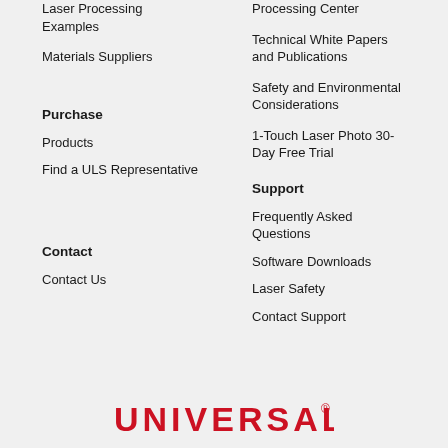Laser Processing Examples
Materials Suppliers
Processing Center
Technical White Papers and Publications
Safety and Environmental Considerations
1-Touch Laser Photo 30-Day Free Trial
Purchase
Products
Find a ULS Representative
Support
Frequently Asked Questions
Software Downloads
Laser Safety
Contact Support
Contact
Contact Us
[Figure (logo): Universal Laser Systems logo in red text]